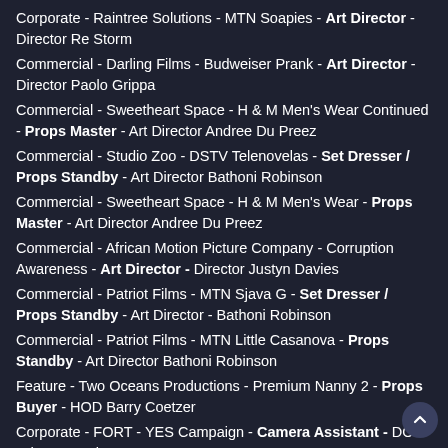Corporate - Raintree Solutions - MTN Soapies - Art Director - Director Re Storm
Commercial - Darling Films - Budweiser Prank - Art Director - Director Paolo Grippa
Commercial - Sweetheart Space - H & M Men's Wear Continued - Props Master - Art Director Andree Du Preez
Commercial - Studio Zoo - DSTV Telenovelas - Set Dresser / Props Standby - Art Director Bathoni Robinson
Commercial - Sweetheart Space - H & M Men's Wear - Props Master - Art Director Andree Du Preez
Commercial - African Motion Picture Company - Corruption Awareness - Art Director - Director Justyn Davies
Commercial - Patriot Films - MTN Sjava G - Set Dresser / Props Standby - Art Director - Bathoni Robinson
Commercial - Patriot Films - MTN Little Casanova - Props Standby - Art Director Bathoni Robinson
Feature - Two Oceans Productions - Premium Nanny 2 - Props Buyer - HOD Barry Coetzer
Corporate - FORT - YES Campaign - Camera Assistant - DOP Adam Bentel